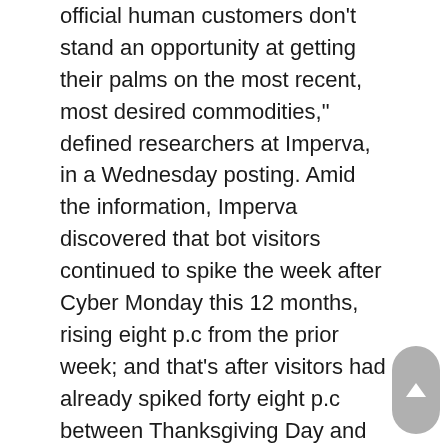official human customers don't stand an opportunity at getting their palms on the most recent, most desired commodities," defined researchers at Imperva, in a Wednesday posting. Amid the information, Imperva discovered that bot visitors continued to spike the week after Cyber Monday this 12 months, rising eight p.c from the prior week; and that's after visitors had already spiked forty eight p.c between Thanksgiving Day and Black Friday.
It's hardly earned alternative for us to have fun this second on-line with you who like to take pleasure in gaming. Welcome to the